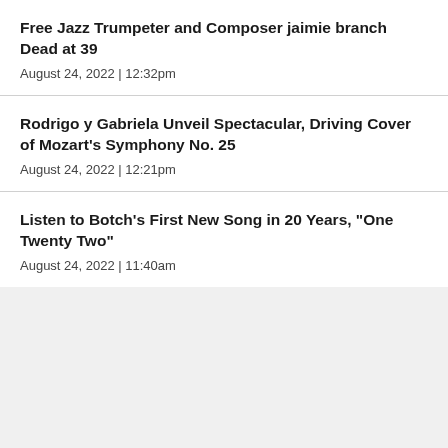Free Jazz Trumpeter and Composer jaimie branch Dead at 39
August 24, 2022  |  12:32pm
Rodrigo y Gabriela Unveil Spectacular, Driving Cover of Mozart's Symphony No. 25
August 24, 2022  |  12:21pm
Listen to Botch's First New Song in 20 Years, "One Twenty Two"
August 24, 2022  |  11:40am